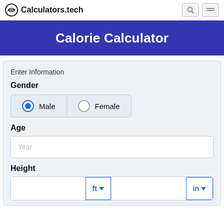Calculators.tech
Calorie Calculator
Enter Information
Gender
Male (selected)
Female
Age
Year
Height
ft | in